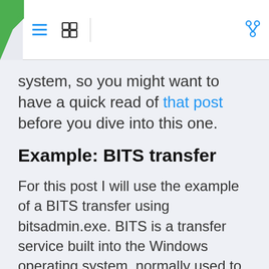[Navigation bar with hamburger menu, list icon, and git branch icon]
system, so you might want to have a quick read of that post before you dive into this one.
Example: BITS transfer
For this post I will use the example of a BITS transfer using bitsadmin.exe. BITS is a transfer service built into the Windows operating system, normally used to fetch windows (or application) updates. However, is it also commonly used by threat actors to deliver malicious payloads because BITS is typically trusted by endpoint tools (since it is a standard windows service). See Mitre Att&ck T1197.
For this test I will use bitsadmin to download a page from the internet and store it on the